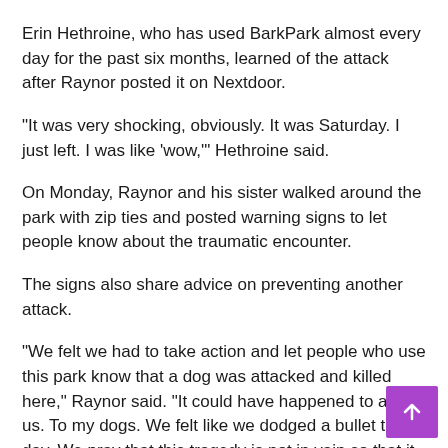Erin Hethroine, who has used BarkPark almost every day for the past six months, learned of the attack after Raynor posted it on Nextdoor.
“It was very shocking, obviously. It was Saturday. I just left. I was like ‘wow,’” Hethroine said.
On Monday, Raynor and his sister walked around the park with zip ties and posted warning signs to let people know about the traumatic encounter.
The signs also share advice on preventing another attack.
“We felt we had to take action and let people who use this park know that a dog was attacked and killed here,” Raynor said. “It could have happened to any of us. To my dogs. We felt like we dodged a bullet that day. We pray that this tragedy is not in vain so that it may be used to mobilize change.
We also tried to contact owners who ended up putting their dog